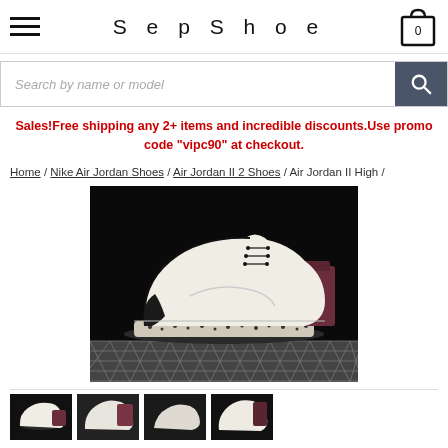SepShoe
Search by name or model
Sales!Free shipping any 2+ items and incredible discounts.Use promo code "vipc90" at checkout.
Home / Nike Air Jordan Shoes / Air Jordan II 2 Shoes / Air Jordan II High /
[Figure (photo): Air Jordan II High sneaker, white leather with dark maroon heel and black speckled sole, displayed on a chainlink fence background against a black backdrop.]
[Figure (photo): Thumbnail 1 of Air Jordan II High shoe]